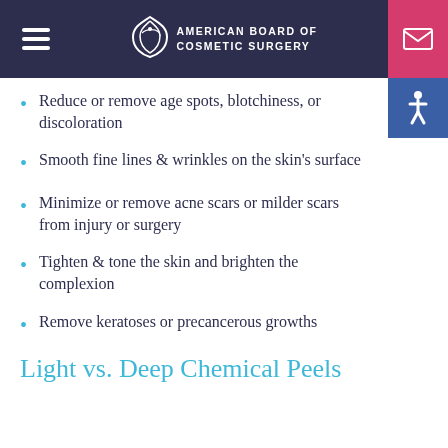American Board of Cosmetic Surgery
Reduce or remove age spots, blotchiness, or discoloration
Smooth fine lines & wrinkles on the skin's surface
Minimize or remove acne scars or milder scars from injury or surgery
Tighten & tone the skin and brighten the complexion
Remove keratoses or precancerous growths
Light vs. Deep Chemical Peels